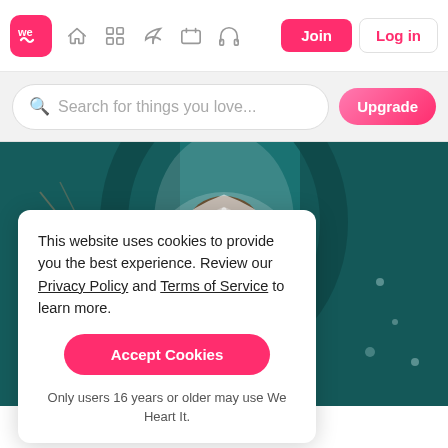[Figure (screenshot): We Heart It website navigation bar with logo, icons (home, grid, edit, rectangle, headphones), Join and Log in buttons]
Search for things you love...
Upgrade
[Figure (photo): Taylor Swift wearing a sparkling crystal/diamond encrusted outfit in front of a teal/dark blue arched background]
This website uses cookies to provide you the best experience. Review our Privacy Policy and Terms of Service to learn more.
Accept Cookies
Only users 16 years or older may use We Heart It.
Taylor Swift and the dollar bill.